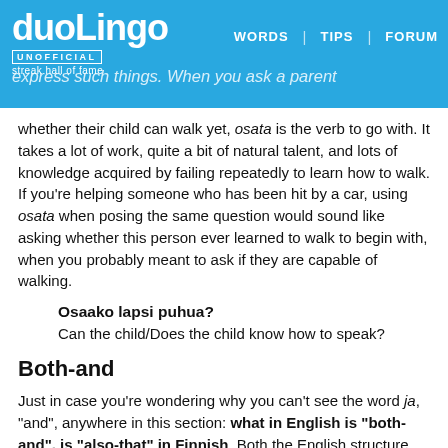duolingo UNOFFICIAL streak hall of fame | WORDS | TIPS | FORUM
express such things. When you ask a parent whether their child can walk yet, osata is the verb to go with. It takes a lot of work, quite a bit of natural talent, and lots of knowledge acquired by failing repeatedly to learn how to walk. If you're helping someone who has been hit by a car, using osata when posing the same question would sound like asking whether this person ever learned to walk to begin with, when you probably meant to ask if they are capable of walking.
Osaako lapsi puhua?
Can the child/Does the child know how to speak?
Both-and
Just in case you're wondering why you can't see the word ja, "and", anywhere in this section: what in English is "both-and", is "also-that" in Finnish. Both the English structure and the Finnish sekä-että are used to point out the importance of there not being only this one thing here but two things